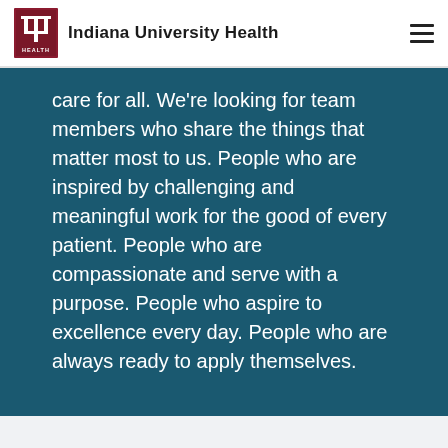[Figure (logo): Indiana University Health logo with IU trident symbol in dark red square, followed by text 'Indiana University Health']
care for all. We’re looking for team members who share the things that matter most to us. People who are inspired by challenging and meaningful work for the good of every patient. People who are compassionate and serve with a purpose. People who aspire to excellence every day. People who are always ready to apply themselves.